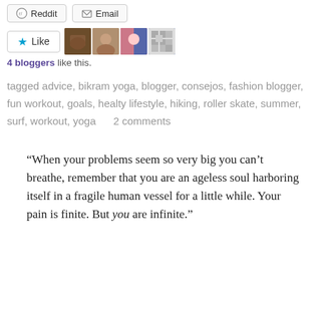[Figure (screenshot): Reddit and Email share buttons at the top]
[Figure (screenshot): Like button with star icon and 4 blogger avatar thumbnails]
4 bloggers like this.
tagged advice, bikram yoga, blogger, consejos, fashion blogger, fun workout, goals, healty lifestyle, hiking, roller skate, summer, surf, workout, yoga     2 comments
“When your problems seem so very big you can’t breathe, remember that you are an ageless soul harboring itself in a fragile human vessel for a little while. Your pain is finite. But you are infinite.”